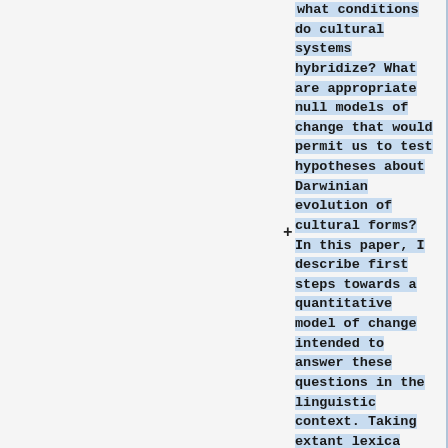what conditions do cultural systems hybridize?  What are appropriate null models of change that would permit us to test hypotheses about Darwinian evolution of cultural forms?  In this paper, I describe first steps towards a quantitative model of change intended to answer these questions in the linguistic context.  Taking extant lexica from related languages as input and focusing on sound change, the model will permit us to answer questions